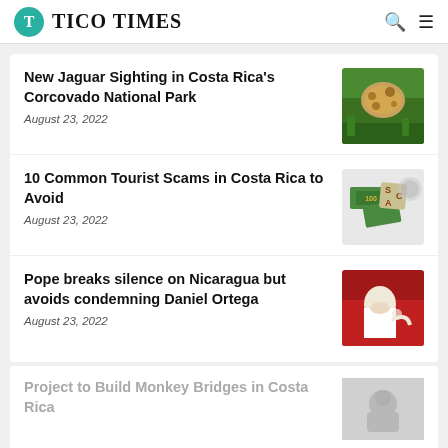TICO TIMES
New Jaguar Sighting in Costa Rica's Corcovado National Park
August 23, 2022
10 Common Tourist Scams in Costa Rica to Avoid
August 23, 2022
Pope breaks silence on Nicaragua but avoids condemning Daniel Ortega
August 23, 2022
Project to Build Monkey Bridges in Costa Rica